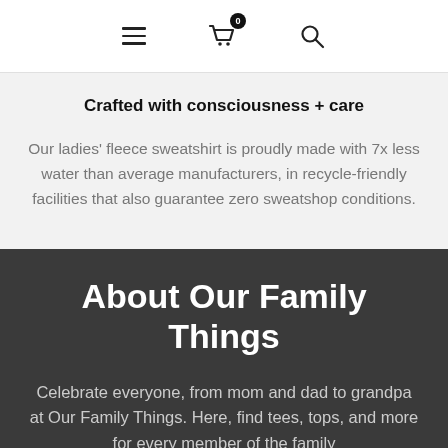Navigation bar with hamburger menu, cart (0), and search icons
Crafted with consciousness + care
Our ladies' fleece sweatshirt is proudly made with 7x less water than average manufacturers, in recycle-friendly facilities that also guarantee zero sweatshop conditions.
About Our Family Things
Celebrate everyone, from mom and dad to grandpa at Our Family Things. Here, find tees, tops, and more for every member of the family